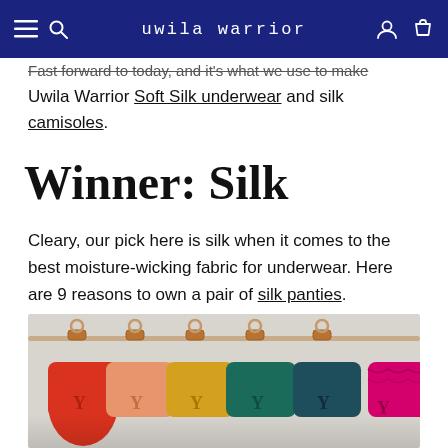uwila warrior
Fast forward to today, and it's what we use to make Uwila Warrior Soft Silk underwear and silk camisoles.
Winner: Silk
Cleary, our pick here is silk when it comes to the best moisture-wicking fabric for underwear. Here are 9 reasons to own a pair of silk panties.
[Figure (photo): Colorful silk panties in orange, peach, yellow, green/teal, and pink/magenta hanging on rose gold hangers with clips, against a light gray background.]